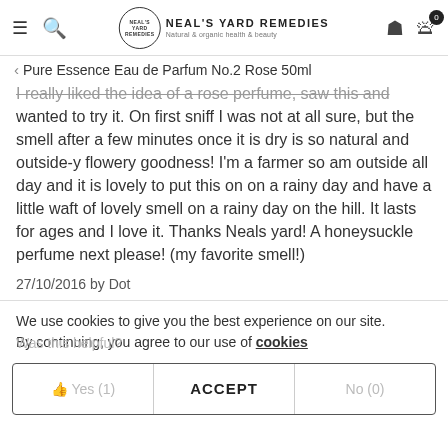Neal's Yard Remedies — Natural & organic health & beauty
Pure Essence Eau de Parfum No.2 Rose 50ml
I really liked the idea of a rose perfume, saw this and wanted to try it. On first sniff I was not at all sure, but the smell after a few minutes once it is dry is so natural and outside-y flowery goodness! I'm a farmer so am outside all day and it is lovely to put this on on a rainy day and have a little waft of lovely smell on a rainy day on the hill. It lasts for ages and I love it. Thanks Neals yard! A honeysuckle perfume next please! (my favorite smell!)
27/10/2016 by Dot
We use cookies to give you the best experience on our site. By continuing, you agree to our use of cookies
Was this helpful?
👍 Yes (1)   ACCEPT   No (0)